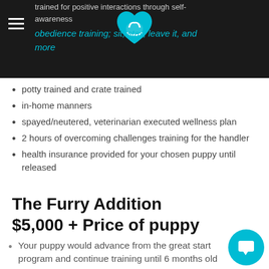Navigation bar with hamburger menu and heart logo
trained for positive interactions through self-awareness
obedience training; sit, stay, leave it, and more
potty trained and crate trained
in-home manners
spayed/neutered, veterinarian executed wellness plan
2 hours of overcoming challenges training for the handler
health insurance provided for your chosen puppy until released
The Furry Addition
$5,000 + Price of puppy
Your puppy would advance from the great start program and continue training until 6 months old